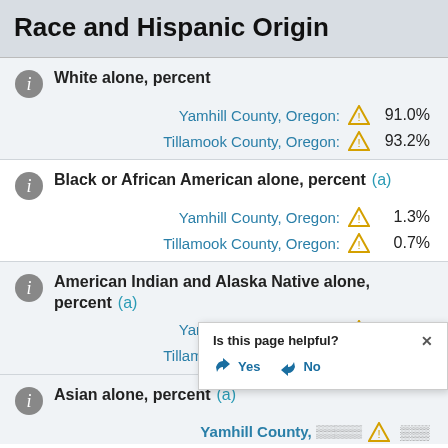Race and Hispanic Origin
White alone, percent
Yamhill County, Oregon: 91.0%
Tillamook County, Oregon: 93.2%
Black or African American alone, percent (a)
Yamhill County, Oregon: 1.3%
Tillamook County, Oregon: 0.7%
American Indian and Alaska Native alone, percent (a)
Yamhill County, Oregon: 2.1%
Tillamook County, Oregon: 1.7%
Asian alone, percent (a)
Yamhill County, Oregon: (partially visible)